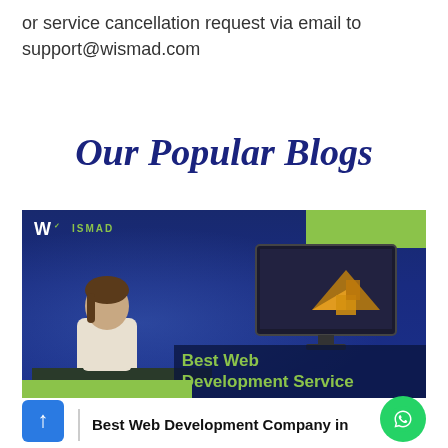or service cancellation request via email to support@wismad.com
Our Popular Blogs
[Figure (photo): Promotional blog thumbnail showing a woman looking at computer monitors displaying a 3D model. Text overlay reads 'Best Web Development Service'. Wismad logo in top left. Green accent blocks.]
07  Best Web Development Company in